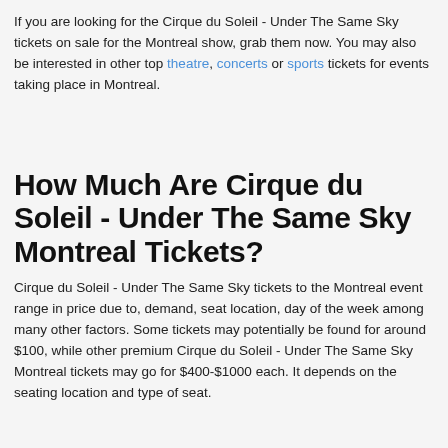If you are looking for the Cirque du Soleil - Under The Same Sky tickets on sale for the Montreal show, grab them now. You may also be interested in other top theatre, concerts or sports tickets for events taking place in Montreal.
How Much Are Cirque du Soleil - Under The Same Sky Montreal Tickets?
Cirque du Soleil - Under The Same Sky tickets to the Montreal event range in price due to, demand, seat location, day of the week among many other factors. Some tickets may potentially be found for around $100, while other premium Cirque du Soleil - Under The Same Sky Montreal tickets may go for $400-$1000 each. It depends on the seating location and type of seat.